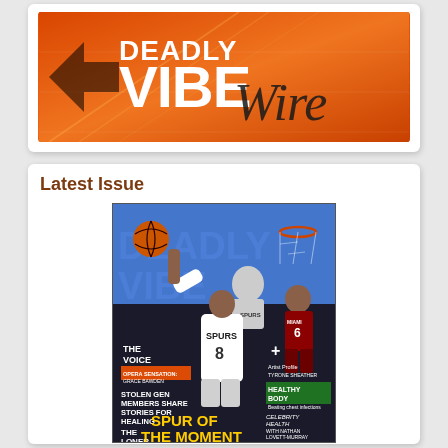[Figure (logo): Deadly Vibe Wire logo on orange gradient background with diagonal lines]
Latest Issue
[Figure (photo): Magazine cover of Deadly Vibe featuring basketball player Patrick Mills in San Antonio Spurs #8 jersey going up for a layup. Cover text includes: THE VOICE, OPERA SENSATION: GRACE BAWDEN, STOLEN GEN MEMBERS SHARE STORIES FOR HEALING, THE LONER Historic Aboriginal film rediscovered, SPUR OF THE MOMENT Patrick Mills Makes History, Artist Profile TYRONE SHEATHER, HEALTHY BODY Beating chest infections, CELEBRITY HEALTH WITH NATHAN LOVETT-MURRAY, AMS Profile: KATUNGUL]